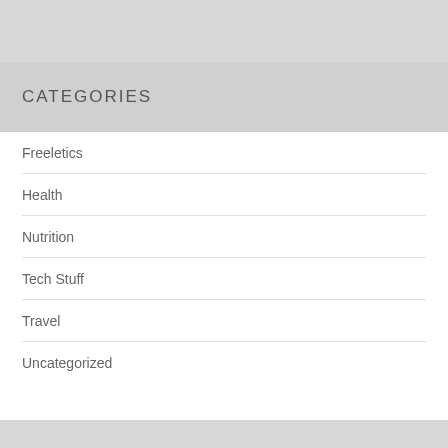CATEGORIES
Freeletics
Health
Nutrition
Tech Stuff
Travel
Uncategorized